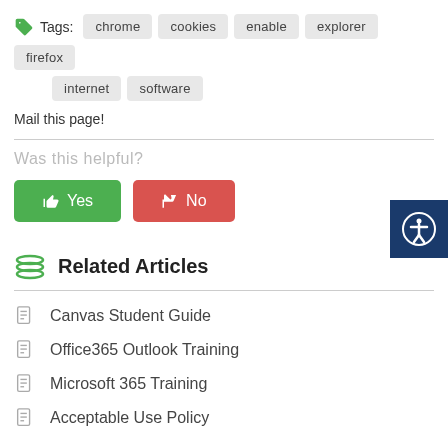Tags: chrome cookies enable explorer firefox internet software
Mail this page!
Was this helpful?
[Figure (other): Yes (thumbs up) and No (thumbs down) feedback buttons in green and red respectively]
Related Articles
Canvas Student Guide
Office365 Outlook Training
Microsoft 365 Training
Acceptable Use Policy